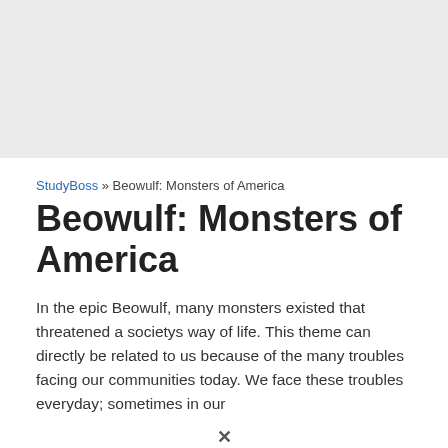StudyBoss » Beowulf: Monsters of America
Beowulf: Monsters of America
In the epic Beowulf, many monsters existed that threatened a societys way of life. This theme can directly be related to us because of the many troubles facing our communities today. We face these troubles everyday; sometimes in our